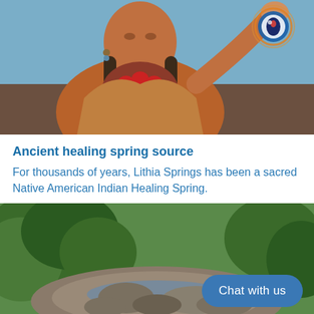[Figure (illustration): Painting of a Native American elder in traditional colorful beaded clothing, raising one hand with a glowing eye symbol above it, set against a blue sky background.]
Ancient healing spring source
For thousands of years, Lithia Springs has been a sacred Native American Indian Healing Spring.
[Figure (photo): Photograph of a rocky spring or stream area surrounded by lush green trees and vegetation, with a 'Chat with us' button overlay.]